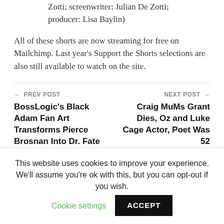Zotti; screenwriter: Julian De Zotti; producer: Lisa Baylin)
All of these shorts are now streaming for free on Mailchimp. Last year’s Support the Shorts selections are also still available to watch on the site.
← PREV POST
BossLogic’s Black Adam Fan Art Transforms Pierce Brosnan Into Dr. Fate
NEXT POST →
Craig MuMs Grant Dies, Oz and Luke Cage Actor, Poet Was 52
This website uses cookies to improve your experience. We'll assume you're ok with this, but you can opt-out if you wish. Cookie settings ACCEPT